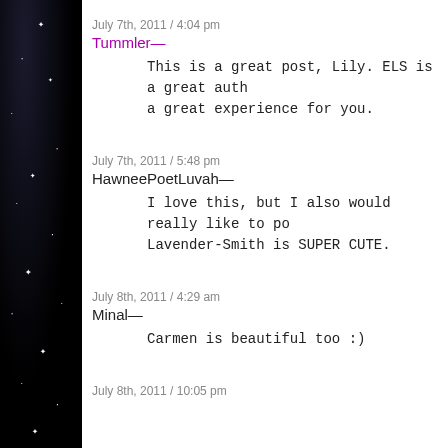July 7th, 2011 / 4:04 pm
Tummler—
This is a great post, Lily. ELS is a great auth a great experience for you.
July 7th, 2011 / 5:48 pm
HawneePoetLuvah—
I love this, but I also would really like to po Lavender-Smith is SUPER CUTE.
July 8th, 2011 / 4:29 am
Minal—
Carmen is beautiful too :)
July 8th, 2011 / 10:05 pm